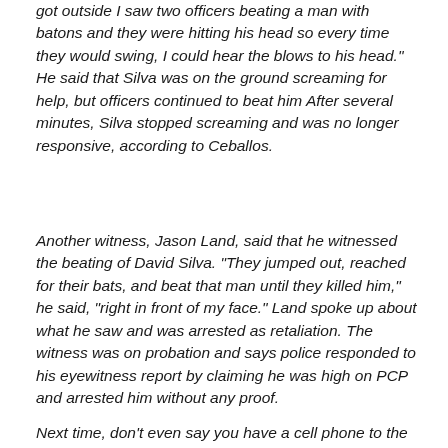got outside I saw two officers beating a man with batons and they were hitting his head so every time they would swing, I could hear the blows to his head." He said that Silva was on the ground screaming for help, but officers continued to beat him After several minutes, Silva stopped screaming and was no longer responsive, according to Ceballos.
Another witness, Jason Land, said that he witnessed the beating of David Silva. “They jumped out, reached for their bats, and beat that man until they killed him,” he said, “right in front of my face.” Land spoke up about what he saw and was arrested as retaliation. The witness was on probation and says police responded to his eyewitness report by claiming he was high on PCP and arrested him without any proof.
Next time, don’t even say you have a cell phone to the